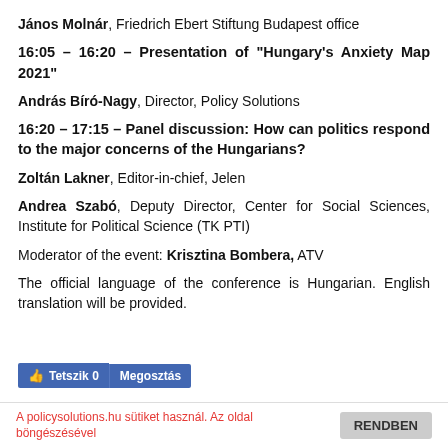János Molnár, Friedrich Ebert Stiftung Budapest office
16:05 – 16:20 – Presentation of "Hungary's Anxiety Map 2021"
András Bíró-Nagy, Director, Policy Solutions
16:20 – 17:15 – Panel discussion: How can politics respond to the major concerns of the Hungarians?
Zoltán Lakner, Editor-in-chief, Jelen
Andrea Szabó, Deputy Director, Center for Social Sciences, Institute for Political Science (TK PTI)
Moderator of the event: Krisztina Bombera, ATV
The official language of the conference is Hungarian. English translation will be provided.
[Figure (screenshot): Facebook Like and Share buttons showing 'Tetszik 0' and 'Megosztás']
A policysolutions.hu sütiket használ. Az oldal böngészésével
RENDBEN